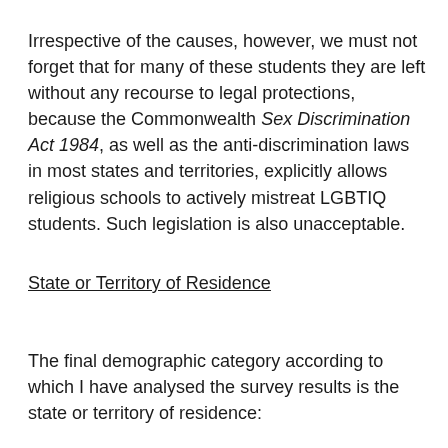Irrespective of the causes, however, we must not forget that for many of these students they are left without any recourse to legal protections, because the Commonwealth Sex Discrimination Act 1984, as well as the anti-discrimination laws in most states and territories, explicitly allows religious schools to actively mistreat LGBTIQ students. Such legislation is also unacceptable.
State or Territory of Residence
The final demographic category according to which I have analysed the survey results is the state or territory of residence: